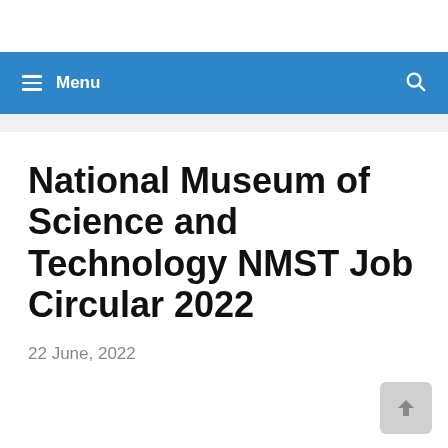Menu
National Museum of Science and Technology NMST Job Circular 2022
22 June, 2022